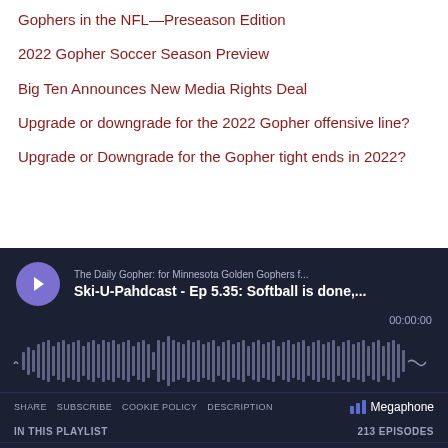Gophers in the NFL—Preseason Edition
2022 Gopher Soccer Season Preview
Big Ten Announces New Media Rights Deal
Upgrade or downgrade for the 2022 Gopher offensive line?
Upgrade or Downgrade for the Gopher tight ends in 2022?
[Figure (screenshot): Podcast player widget with dark background showing 'The Daily Gopher: for Minnesota Golden Gophers f...' and episode 'Ski-U-Pahdcast - Ep 5.35: Softball is done,...' with waveform display, timestamp 00:00:00, share/subscribe/cookie policy/description links, Megaphone branding, and playlist section showing 213 EPISODES]